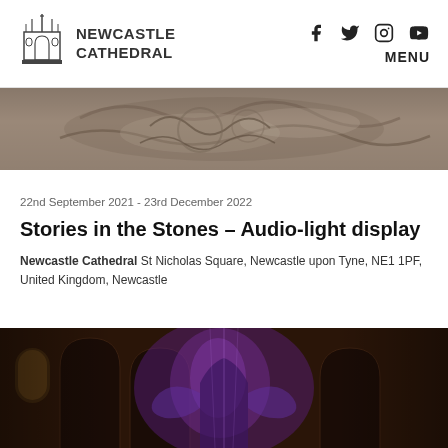Newcastle Cathedral — header with social icons (Facebook, Twitter, Instagram, YouTube) and MENU
[Figure (photo): Close-up photograph of ornate carved stone detail, showing swirling decorative relief stonework in grey tones]
22nd September 2021 - 23rd December 2022
Stories in the Stones – Audio-light display
Newcastle Cathedral St Nicholas Square, Newcastle upon Tyne, NE1 1PF, United Kingdom, Newcastle
[Figure (photo): Dark atmospheric interior photograph of Newcastle Cathedral showing a figure or artwork illuminated with purple/violet light among stone arches and columns]